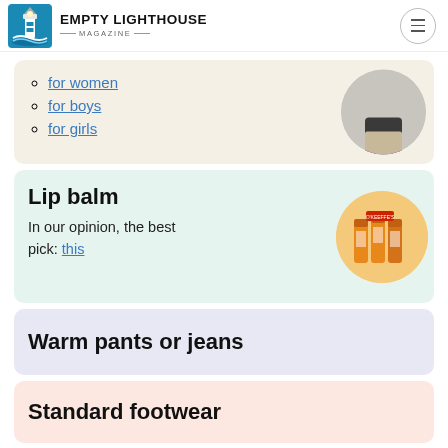EMPTY LIGHTHOUSE MAGAZINE
for women
for boys
for girls
Lip balm
In our opinion, the best pick: this
Warm pants or jeans
Standard footwear